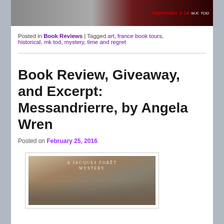[Figure (photo): Top banner image showing 'September 1-16' text in red on a dark background with an author name M.K. TOD on the right side]
Posted in Book Reviews | Tagged art, france book tours, historical, mk tod, mystery, time and regret
Book Review, Giveaway, and Excerpt: Messandrierre, by Angela Wren
Posted on February 25, 2016
[Figure (photo): Book cover for 'A Jacques Foret Mystery' by Angela Wren - Messandrierre, showing a sepia-toned landscape]